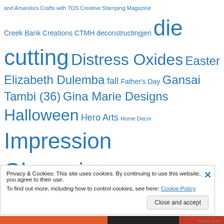Creek Bank Creations CTMH deconstructingjen die cutting Distress Oxides Easter Elizabeth Dulemba fall Father's Day Gansai Tambi (36) Gina Marie Designs Halloween Hero Arts Home Decor Impression Obsession Inkadinkado Interactive Jan's Digi Stamps Jane's Doodles JDS Kat Scrappiness kit Lawn Fawn mantle MFT Miss Kate Cuttables Momenta My Favorite Things...
Privacy & Cookies: This site uses cookies. By continuing to use this website, you agree to their use. To find out more, including how to control cookies, see here: Cookie Policy
Close and accept